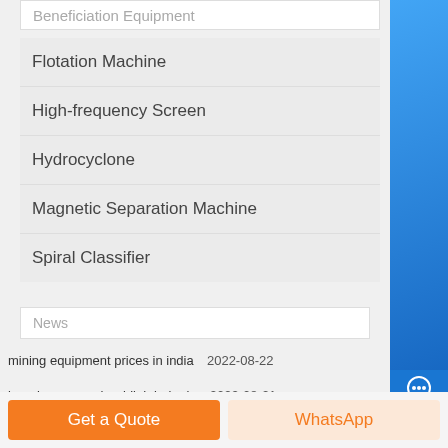Beneficiation Equipment
Flotation Machine
High-frequency Screen
Hydrocyclone
Magnetic Separation Machine
Spiral Classifier
News
mining equipment prices in india  2022-08-22
bagaimana crusher bijih bekerja  2022-08-21
Get a Quote
WhatsApp